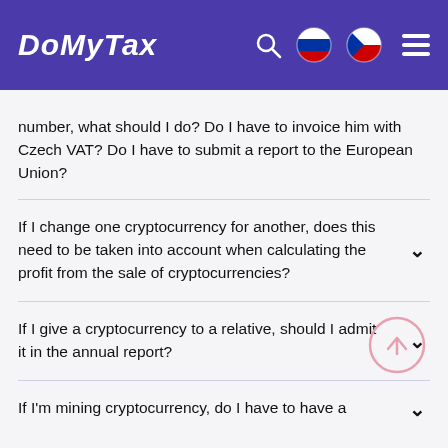DoMyTax
number, what should I do? Do I have to invoice him with Czech VAT? Do I have to submit a report to the European Union?
If I change one cryptocurrency for another, does this need to be taken into account when calculating the profit from the sale of cryptocurrencies?
If I give a cryptocurrency to a relative, should I admit it in the annual report?
If I'm mining cryptocurrency, do I have to have a